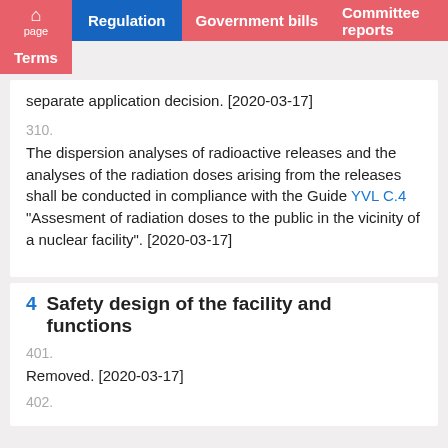page | Regulation | Government bills | Committee reports | Terms
separate application decision. [2020-03-17]
310.
The dispersion analyses of radioactive releases and the analyses of the radiation doses arising from the releases shall be conducted in compliance with the Guide YVL C.4 “Assesment of radiation doses to the public in the vicinity of a nuclear facility”. [2020-03-17]
4  Safety design of the facility and functions
401.
Removed. [2020-03-17]
402.